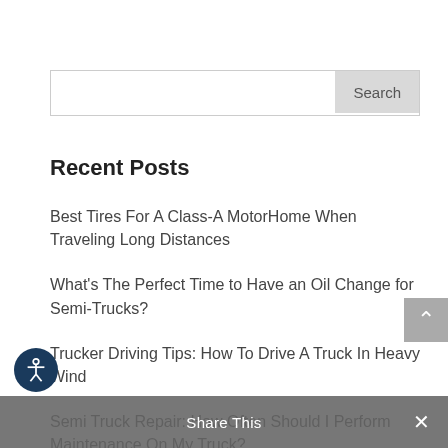[Figure (screenshot): Search bar with text input and Search button]
Recent Posts
Best Tires For A Class-A MotorHome When Traveling Long Distances
What's The Perfect Time to Have an Oil Change for Semi-Trucks?
Trucker Driving Tips: How To Drive A Truck In Heavy Wind
Semi Truck Repair: How Often Should I Perform Maintenance On My Truck?
The Average Yearly Semi Truck Maintenance Cost
Share This